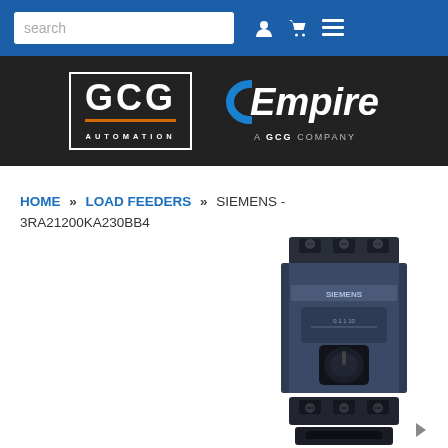GCG Automation | Empire — A GCG Company
HOME » LOAD FEEDERS » SIEMENS - 3RA21200KA230BB4
[Figure (photo): Siemens 3RA21200KA230BB4 load feeder / motor starter circuit breaker, dark blue/black enclosure with rotary handle, shown on white background, partially cropped at bottom of page]